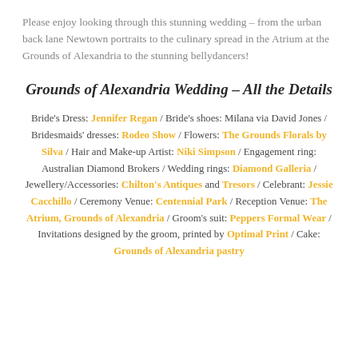Please enjoy looking through this stunning wedding – from the urban back lane Newtown portraits to the culinary spread in the Atrium at the Grounds of Alexandria to the stunning bellydancers!
Grounds of Alexandria Wedding – All the Details
Bride's Dress: Jennifer Regan / Bride's shoes: Milana via David Jones / Bridesmaids' dresses: Rodeo Show / Flowers: The Grounds Florals by Silva / Hair and Make-up Artist: Niki Simpson / Engagement ring: Australian Diamond Brokers / Wedding rings: Diamond Galleria / Jewellery/Accessories: Chilton's Antiques and Tresors / Celebrant: Jessie Cacchillo / Ceremony Venue: Centennial Park / Reception Venue: The Atrium, Grounds of Alexandria / Groom's suit: Peppers Formal Wear / Invitations designed by the groom, printed by Optimal Print / Cake: Grounds of Alexandria pastry